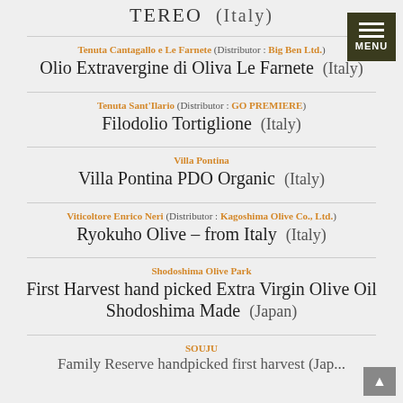TEREO (Italy)
Tenuta Cantagallo e Le Farnete (Distributor : Big Ben Ltd.) — Olio Extravergine di Oliva Le Farnete (Italy)
Tenuta Sant'Ilario (Distributor : GO PREMIERE) — Filodolio Tortiglione (Italy)
Villa Pontina — Villa Pontina PDO Organic (Italy)
Viticoltore Enrico Neri (Distributor : Kagoshima Olive Co., Ltd.) — Ryokuho Olive – from Italy (Italy)
Shodoshima Olive Park — First Harvest hand picked Extra Virgin Olive Oil Shodoshima Made (Japan)
SOUJU